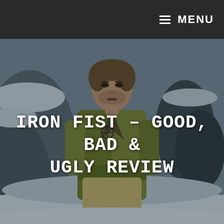MENU
[Figure (photo): A young man in a green robe or martial arts costume standing in a snowy, rocky landscape. He has a serious expression and a tattoo visible on his chest. The background shows snow-covered rocks and trees.]
IRON FIST – GOOD, BAD & UGLY REVIEW